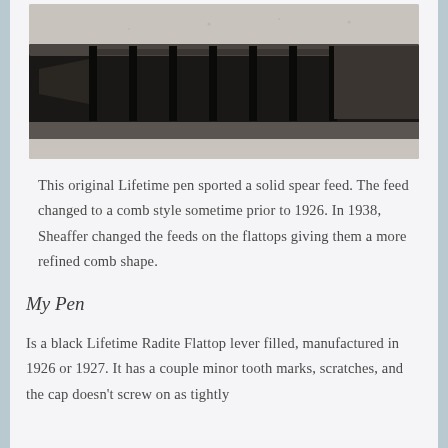[Figure (photo): Close-up photo of a vintage fountain pen feed showing comb-style teeth, black hard rubber, viewed from the side against a light gray background.]
This original Lifetime pen sported a solid spear feed. The feed changed to a comb style sometime prior to 1926. In 1938, Sheaffer changed the feeds on the flattops giving them a more refined comb shape.
My Pen
Is a black Lifetime Radite Flattop lever filled, manufactured in 1926 or 1927. It has a couple minor tooth marks, scratches, and the cap doesn't screw on as tightly